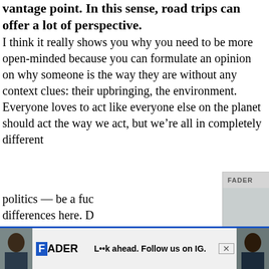especially when you're viewing it from just one vantage point. In this sense, road trips can offer a lot of perspective.
I think it really shows you why you need to be more open-minded because you can formulate an opinion on why someone is the way they are without any context clues: their upbringing, the environment. Everyone loves to act like everyone else on the planet should act the way we act, but we're all in completely different ... politics — be a fuc... differences here. D... homophobia, and t... classism. If you do... up rough, you real...
[Figure (photo): Popup advertisement showing a person wearing an orange hoodie with blue face paint makeup. Caption reads: Jean Dawson announces new album, shares "3 HEADS". Top bar shows FADER logo, three dots menu icon, and X close button.]
[Figure (screenshot): Bottom advertisement bar for FADER. Shows FADER logo with blue F box, two thumbnail photos of a person, and text 'L..k ahead. Follow us on IG.' with an X close button.]